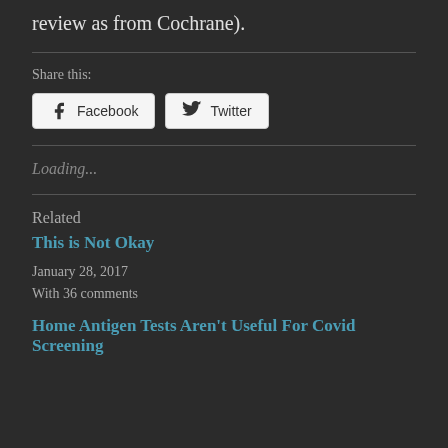review as from Cochrane).
Share this:
[Figure (other): Social share buttons: Facebook and Twitter]
Loading...
Related
This is Not Okay
January 28, 2017
With 36 comments
Home Antigen Tests Aren't Useful For Covid Screening